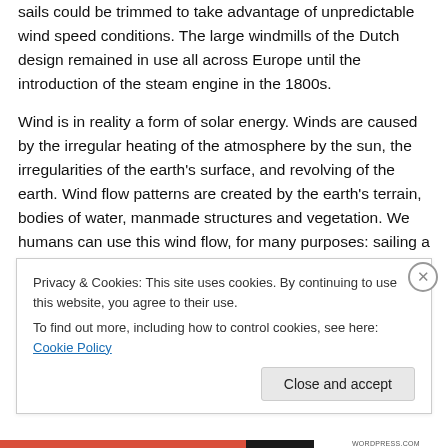sails could be trimmed to take advantage of unpredictable wind speed conditions. The large windmills of the Dutch design remained in use all across Europe until the introduction of the steam engine in the 1800s.
Wind is in reality a form of solar energy. Winds are caused by the irregular heating of the atmosphere by the sun, the irregularities of the earth's surface, and revolving of the earth. Wind flow patterns are created by the earth's terrain, bodies of water, manmade structures and vegetation. We humans can use this wind flow, for many purposes: sailing a boat, flying a kite, flying an airplane
Privacy & Cookies: This site uses cookies. By continuing to use this website, you agree to their use.
To find out more, including how to control cookies, see here: Cookie Policy